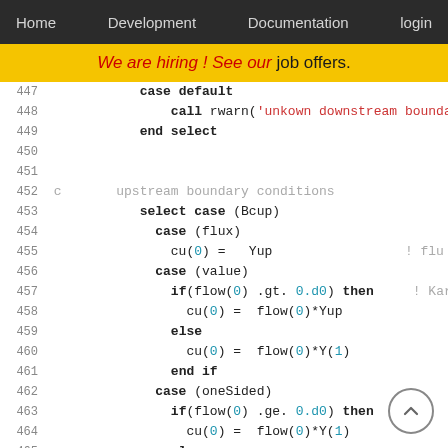Home  Development  Documentation  login
We are hiring! See our job offers.
[Figure (screenshot): Code listing showing Fortran-style boundary condition code, lines 447-466]